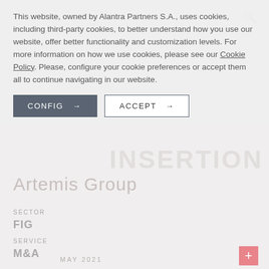This website, owned by Alantra Partners S.A., uses cookies, including third-party cookies, to better understand how you use our website, offer better functionality and customization levels. For more information on how we use cookies, please see our Cookie Policy. Please, configure your cookie preferences or accept them all to continue navigating in our website.
CONFIG →   ACCEPT →
Artemis Group
SECTOR
FIG
SERVICE
M&A
MAY 2021